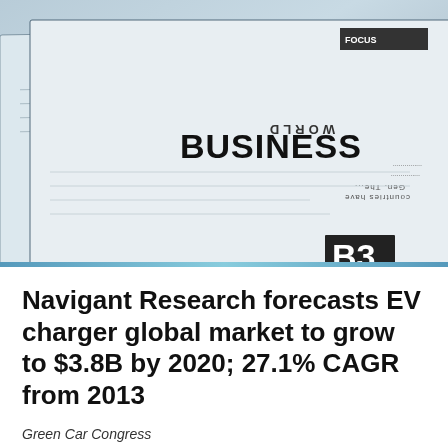[Figure (photo): Stack of folded newspapers fanned out, showing 'WORLD BUSINESS' and 'B3' section labels on the front newspaper pages, with a blue-tinted background]
Navigant Research forecasts EV charger global market to grow to $3.8B by 2020; 27.1% CAGR from 2013
Green Car Congress
APRIL 11, 2013